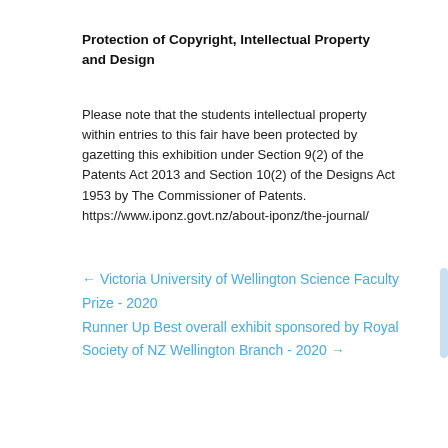Protection of Copyright, Intellectual Property and Design
Please note that the students intellectual property within entries to this fair have been protected by gazetting this exhibition under Section 9(2) of the Patents Act 2013 and Section 10(2) of the Designs Act 1953 by The Commissioner of Patents. https://www.iponz.govt.nz/about-iponz/the-journal/
← Victoria University of Wellington Science Faculty Prize - 2020
Runner Up Best overall exhibit sponsored by Royal Society of NZ Wellington Branch - 2020 →